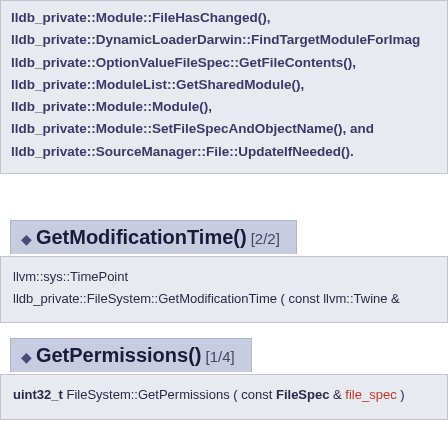lldb_private::Module::FileHasChanged(), lldb_private::DynamicLoaderDarwin::FindTargetModuleForImag lldb_private::OptionValueFileSpec::GetFileContents(), lldb_private::ModuleList::GetSharedModule(), lldb_private::Module::Module(), lldb_private::Module::SetFileSpecAndObjectName(), and lldb_private::SourceManager::File::UpdateIfNeeded().
GetModificationTime() [2/2]
llvm::sys::TimePoint
lldb_private::FileSystem::GetModificationTime ( const llvm::Twine &
GetPermissions() [1/4]
uint32_t FileSystem::GetPermissions ( const FileSpec & file_spec )